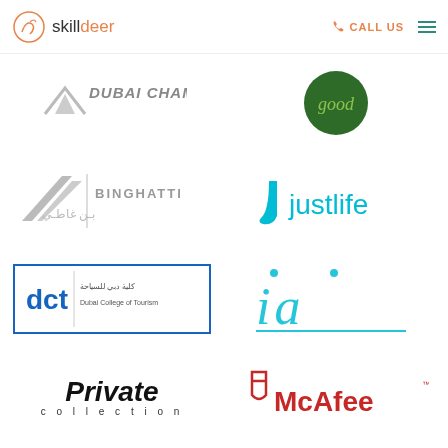skilldeer | CALL US
[Figure (logo): Dubai Chamber logo - text in gray italic bold]
[Figure (logo): Good - dark green circle with light green text]
[Figure (logo): Binghatti logo with stylized wing mark, English and Arabic text in gray]
[Figure (logo): Justlife logo in cyan/turquoise with stylized J icon]
[Figure (logo): DCT Dubai College of Tourism logo in blue box with Arabic and English text]
[Figure (logo): IA logo in turquoise stylized italic lettering]
[Figure (logo): Private collection logo in black italic serif]
[Figure (logo): McAfee logo in red with shield icon]